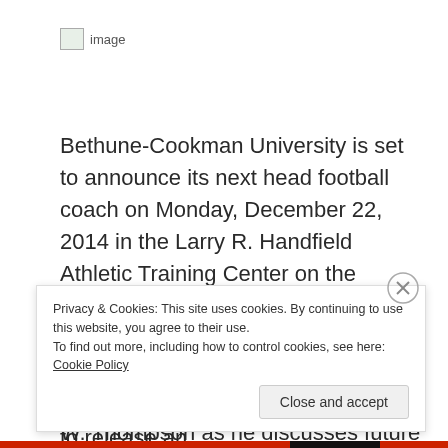[Figure (logo): Broken image placeholder with 'image' text label]
Bethune-Cookman University is set to announce its next head football coach on Monday, December 22, 2014 in the Larry R. Handfield Athletic Training Center on the campus of B-CU. The press conference, scheduled to begin at 1 p.m., and will feature Bethune-Cookman Director of Athletics Lynn W. Thompson as he discusses future of Wildcats Football.
The university declined our requests to release an
Privacy & Cookies: This site uses cookies. By continuing to use this website, you agree to their use.
To find out more, including how to control cookies, see here: Cookie Policy
Close and accept